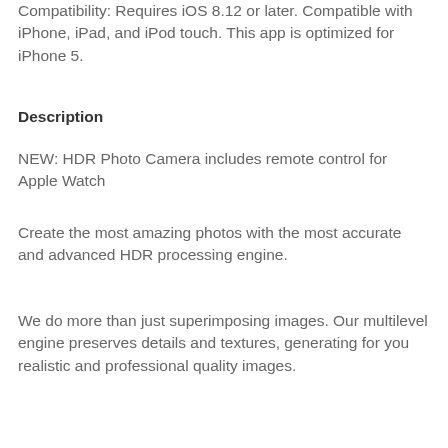Compatibility: Requires iOS 8.12 or later. Compatible with iPhone, iPad, and iPod touch. This app is optimized for iPhone 5.
Description
NEW: HDR Photo Camera includes remote control for Apple Watch
Create the most amazing photos with the most accurate and advanced HDR processing engine.
We do more than just superimposing images. Our multilevel engine preserves details and textures, generating for you realistic and professional quality images.
In short: HDR Photo Camera takes three photos at different exposure levels (bracketing) and then it combines them, using the exposure fusing technique, into a single high dynamic range image.
The best results are obtained when the scene includes both dark and bright areas, such as